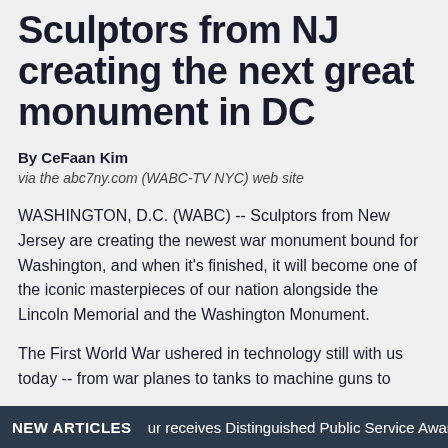Sculptors from NJ creating the next great monument in DC
By CeFaan Kim
via the abc7ny.com (WABC-TV NYC) web site
WASHINGTON, D.C. (WABC) -- Sculptors from New Jersey are creating the newest war monument bound for Washington, and when it's finished, it will become one of the iconic masterpieces of our nation alongside the Lincoln Memorial and the Washington Monument.
The First World War ushered in technology still with us today -- from war planes to tanks to machine guns to
NEW ARTICLES   ur receives Distinguished Public Service Award